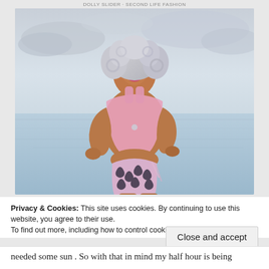DOLLY SLIDER - SECOND LIFE FASHION
[Figure (illustration): 3D rendered digital avatar of a woman with silver/grey curly hair, wearing a pink sheer crop top and black and pink floral/leaf print shorts, standing in front of a calm ocean/sea backdrop with a light grey cloudy sky.]
Privacy & Cookies: This site uses cookies. By continuing to use this website, you agree to their use.
To find out more, including how to control cookies, see here: Cookie Policy
Close and accept
needed some sun . So with that in mind my half hour is being